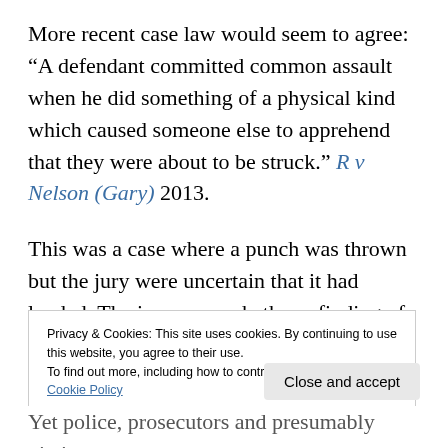More recent case law would seem to agree: “A defendant committed common assault when he did something of a physical kind which caused someone else to apprehend that they were about to be struck.” R v Nelson (Gary) 2013.
This was a case where a punch was thrown but the jury were uncertain that it had landed. The issue was whether a finding of common assault (where no contact can be inferred) could be substituted for the offence of assault
Privacy & Cookies: This site uses cookies. By continuing to use this website, you agree to their use.
To find out more, including how to control cookies, see here: Cookie Policy
Yet police, prosecutors and presumably victims seem to